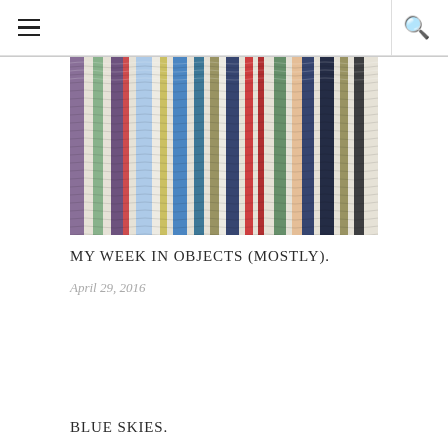Navigation menu and search icon
[Figure (photo): Close-up photo of a colorful woven textile fabric with multicolored vertical stripes in blue, green, red, purple, navy, white, and other colors showing a wavy woven pattern.]
MY WEEK IN OBJECTS (MOSTLY).
April 29, 2016
BLUE SKIES.